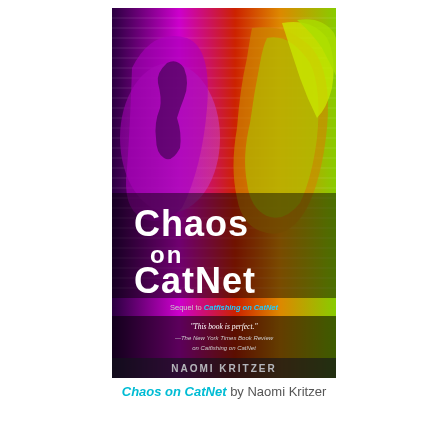[Figure (illustration): Book cover of 'Chaos on CatNet' by Naomi Kritzer. The cover shows two faces of young women in profile facing each other, overlaid with vivid colors — magenta/purple on the left and yellow-green on the right — with digital scan-line effects. Large white text reads 'Chaos on CatNet'. Below the title is a subtitle: 'Sequel to Catfishing on CatNet'. A pull quote reads: "This book is perfect." —The New York Times Book Review on Catfishing on CatNet. At the bottom the author's name 'NAOMI KRITZER' appears in white on a dark background.]
Chaos on CatNet by Naomi Kritzer